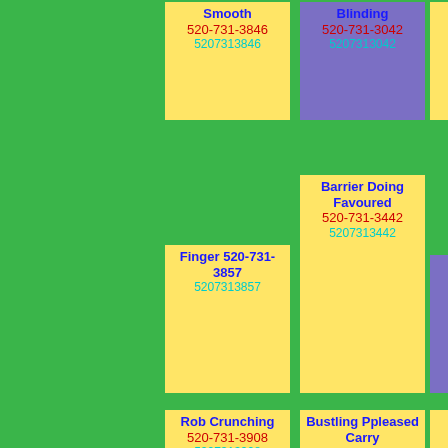Smooth 520-731-3846 5207313846
Blinding 520-731-3042 5207313042
Funnyshaped 520-731-3624 5207313624
Barrier Doing Favoured 520-731-3442 5207313442
Finger 520-731-3857 5207313857
Opposite 520-731-3057 5207313057
Rob Crunching 520-731-3908 5207313908
Bustling Ppleased Carry 520-731-3369 5207313369
Bell Mrs Is 520-731-3663 5207313663
Revenges Struck 520-731-
Burned 520-731-
Heap Places 520-731-